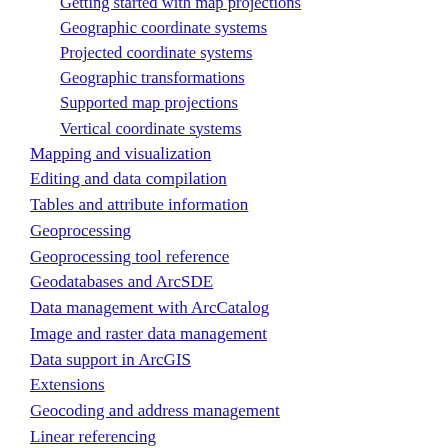Getting started with map projections
Geographic coordinate systems
Projected coordinate systems
Geographic transformations
Supported map projections
Vertical coordinate systems
Mapping and visualization
Editing and data compilation
Tables and attribute information
Geoprocessing
Geoprocessing tool reference
Geodatabases and ArcSDE
Data management with ArcCatalog
Image and raster data management
Data support in ArcGIS
Extensions
Geocoding and address management
Linear referencing
Network analysis
Mobile GIS
Interoperability and standards support
Customizing and developing with ArcGIS
Guide to data that comes with ArcGIS
Licensing and desktop administration
GIS Servers and services